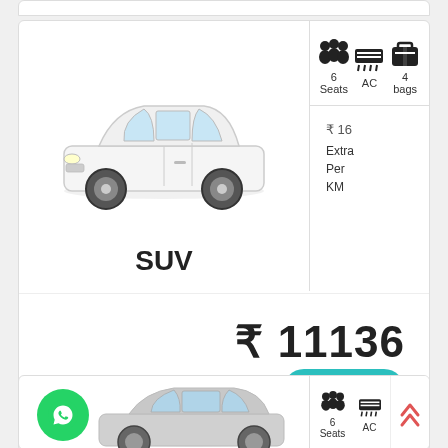[Figure (photo): White SUV (Toyota Innova style) car photo from side-front angle]
SUV
[Figure (infographic): Icons showing 6 Seats, AC, 4 bags]
₹ 16 Extra Per KM
₹ 11136
Book
Inclusive: Driver Allowance,Fuel Charges
Extras: Airport Parking Charges (if any), Toll & State Tax (Excluded )
[Figure (photo): Silver SUV (Toyota Innova Crysta style) car photo, partially visible at bottom of page, with WhatsApp bubble icon overlay]